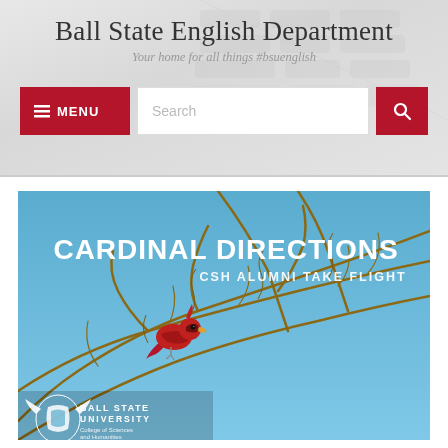Ball State English Department
Your home for all things #bsuenglish
[Figure (screenshot): Navigation bar with red MENU button, search bar, and red search icon button]
[Figure (photo): Cardinal Directions — CSH Alumni Take Flight. Ball State University College of Sciences and Humanities. Photo of a red cardinal bird perched on bare branches against a blue sky.]